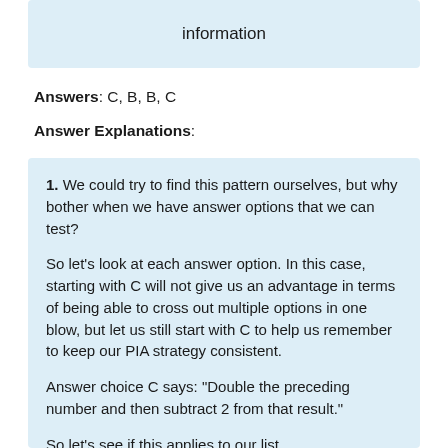information
Answers: C, B, B, C
Answer Explanations:
1. We could try to find this pattern ourselves, but why bother when we have answer options that we can test?

So let's look at each answer option. In this case, starting with C will not give us an advantage in terms of being able to cross out multiple options in one blow, but let us still start with C to help us remember to keep our PIA strategy consistent.

Answer choice C says: "Double the preceding number and then subtract 2 from that result."

So let's see if this applies to our list.

6, 10, 18, 34, 66